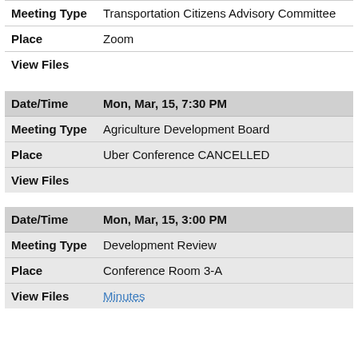| Field | Value |
| --- | --- |
| Meeting Type | Transportation Citizens Advisory Committee |
| Place | Zoom |
| View Files |  |
| Field | Value |
| --- | --- |
| Date/Time | Mon, Mar, 15, 7:30 PM |
| Meeting Type | Agriculture Development Board |
| Place | Uber Conference CANCELLED |
| View Files |  |
| Field | Value |
| --- | --- |
| Date/Time | Mon, Mar, 15, 3:00 PM |
| Meeting Type | Development Review |
| Place | Conference Room 3-A |
| View Files | Minutes |